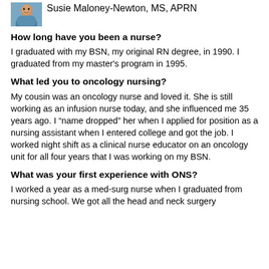[Figure (photo): Small portrait photo of Susie Maloney-Newton]
Susie Maloney-Newton, MS, APRN
How long have you been a nurse?
I graduated with my BSN, my original RN degree, in 1990. I graduated from my master's program in 1995.
What led you to oncology nursing?
My cousin was an oncology nurse and loved it. She is still working as an infusion nurse today, and she influenced me 35 years ago. I “name dropped” her when I applied for position as a nursing assistant when I entered college and got the job. I worked night shift as a clinical nurse educator on an oncology unit for all four years that I was working on my BSN.
What was your first experience with ONS?
I worked a year as a med-surg nurse when I graduated from nursing school. We got all the head and neck surgery